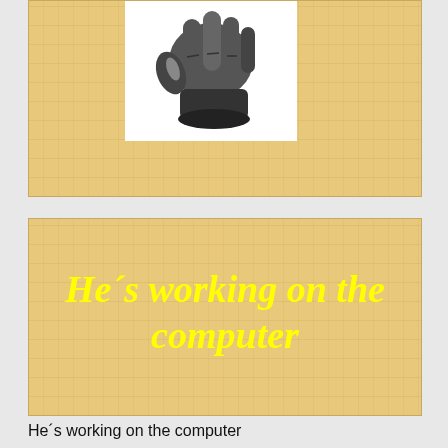[Figure (illustration): Hand pointing downward, illustrated in black, dark gray and light gray tones, on a white background within a tan/burlap textured card]
[Figure (illustration): Tan/burlap textured background card with bold italic yellow text reading 'He´s working on the computer']
He´s working on the computer